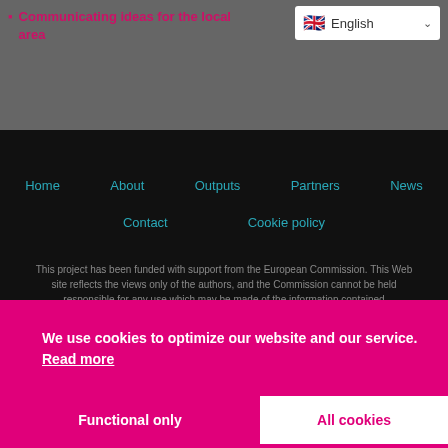Communicating ideas for the local area
English
Home   About   Outputs   Partners   News   Contact   Cookie policy
This project has been funded with support from the European Commission. This Web site reflects the views only of the authors, and the Commission cannot be held responsible for any use which may be made of the information contained
We use cookies to optimize our website and our service. Read more
Functional only
All cookies